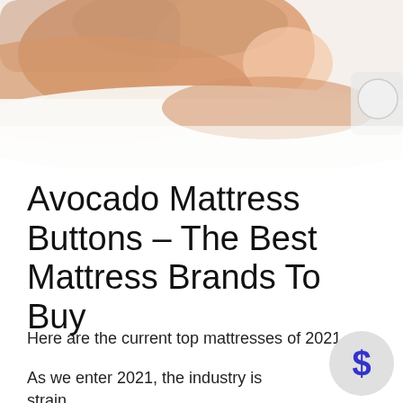[Figure (photo): Woman sleeping on white pillow/mattress, photographed from above, smiling, white background with alarm clock visible at right edge]
Avocado Mattress Buttons – The Best Mattress Brands To Buy
Here are the current top mattresses of 2021.
As we enter 2021, the industry is strain with mattress brand names.